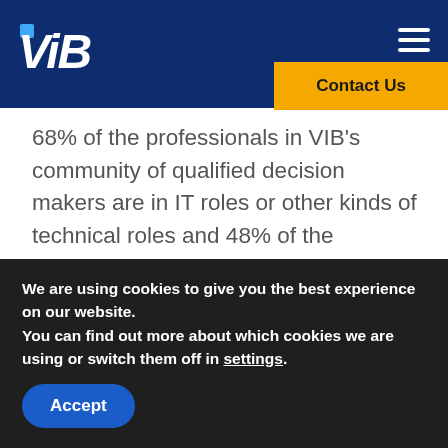VIB — Contact Us
68% of the professionals in VIB's community of qualified decision makers are in IT roles or other kinds of technical roles and 48% of the professionals in the community are in a management role, including high-level positions like VP, Director, or CEO. ViB has constantly
We are using cookies to give you the best experience on our website.
You can find out more about which cookies we are using or switch them off in settings.
Accept